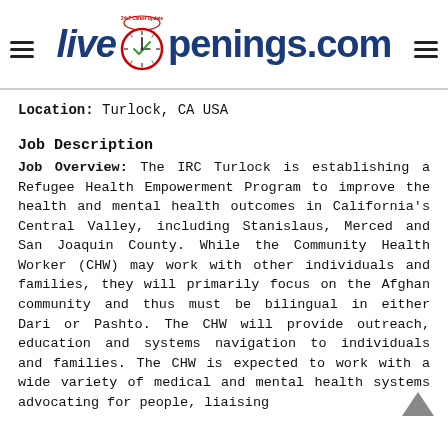LiveOpenings.com
Location: Turlock, CA USA
Job Description
Job Overview: The IRC Turlock is establishing a Refugee Health Empowerment Program to improve the health and mental health outcomes in California's Central Valley, including Stanislaus, Merced and San Joaquin County. While the Community Health Worker (CHW) may work with other individuals and families, they will primarily focus on the Afghan community and thus must be bilingual in either Dari or Pashto. The CHW will provide outreach, education and systems navigation to individuals and families. The CHW is expected to work with a wide variety of medical and mental health systems advocating for people, liaising